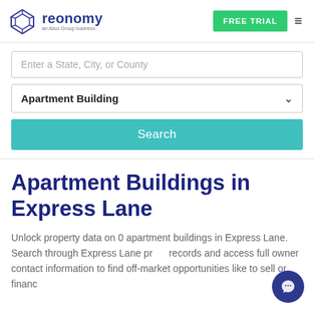[Figure (logo): Reonomy logo — geometric diamond/box outline icon in indigo with 'reonomy' wordmark and 'an Altus Group business' subtitle]
FREE TRIAL
Enter a State, City, or County
Apartment Building
Search
Apartment Buildings in Express Lane
Unlock property data on 0 apartment buildings in Express Lane. Search through Express Lane property records and access full owner contact information to find off-market opportunities like to sell or financ...